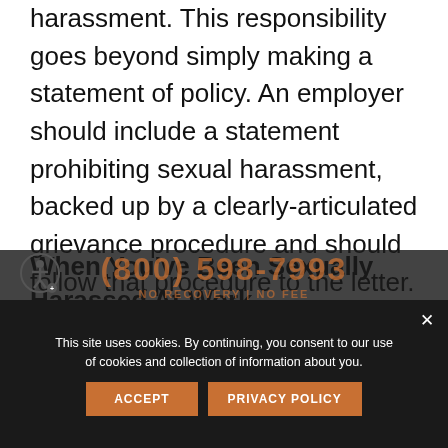harassment. This responsibility goes beyond simply making a statement of policy. An employer should include a statement prohibiting sexual harassment, backed up by a clearly-articulated grievance procedure and should follow that procedure to the letter.
When You've Been Sexually Harassed At Work
If you have been sexually harassed in the workplace, and following the company's grievance procedure has not put a stop to it, your first two
This site uses cookies. By continuing, you consent to our use of cookies and collection of information about you.